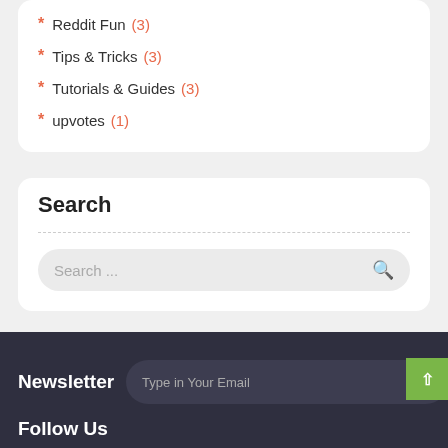Reddit Fun (3)
Tips & Tricks (3)
Tutorials & Guides (3)
upvotes (1)
Search
Search ...
Newsletter   Type in Your Email
Follow Us